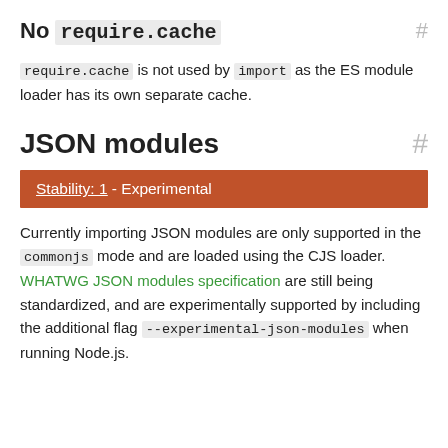No require.cache #
require.cache is not used by import as the ES module loader has its own separate cache.
JSON modules #
Stability: 1 - Experimental
Currently importing JSON modules are only supported in the commonjs mode and are loaded using the CJS loader. WHATWG JSON modules specification are still being standardized, and are experimentally supported by including the additional flag --experimental-json-modules when running Node.js.